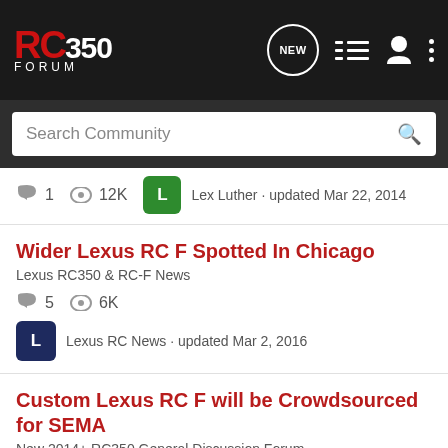RC350 FORUM
Search Community
1 · 12K · Lex Luther · updated Mar 22, 2014
Wider Lexus RC F Spotted In Chicago
Lexus RC350 & RC-F News
5 · 6K · Lexus RC News · updated Mar 2, 2016
Custom Lexus RC F will be Crowdsourced for SEMA
New 2014+ RC350 General Discussion Forum
7 · 4K · Lex Luther · updated Oct 17, 2014